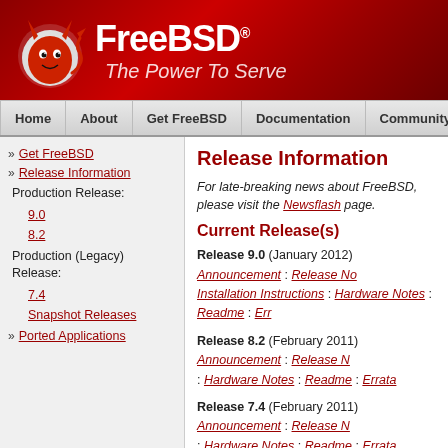[Figure (logo): FreeBSD logo with devil mascot and red background. Text: FreeBSD The Power To Serve]
Home | About | Get FreeBSD | Documentation | Community | Developers
» Get FreeBSD
» Release Information
  Production Release:
    9.0
    8.2
  Production (Legacy) Release:
    7.4
    Snapshot Releases
» Ported Applications
Release Information
For late-breaking news about FreeBSD, please visit the Newsflash page.
Current Release(s)
Release 9.0 (January 2012) Announcement : Release No... Installation Instructions : Hardware Notes : Readme : Err...
Release 8.2 (February 2011) Announcement : Release N... : Hardware Notes : Readme : Errata
Release 7.4 (February 2011) Announcement : Release N... : Hardware Notes : Readme : Errata
The latest snapshots from our FreeBSD-STABLE and FreeBSD-CURRENT branches are also available. Please...
Supported Releases
The current designation and estimated lifetimes of curren... Information... page.